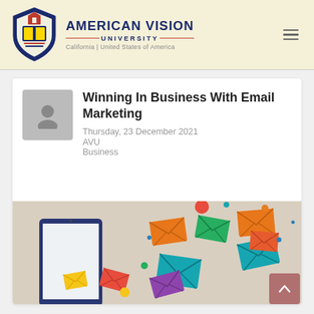AMERICAN VISION UNIVERSITY — California | United States of America
Winning In Business With Email Marketing
Thursday, 23 December 2021
AVU
Business
[Figure (illustration): Colorful email envelope icons flying out of a dark smartphone/tablet device against a light beige background. Multiple envelopes in orange, green, yellow, red, teal/cyan, and purple colors, scattered dynamically.]